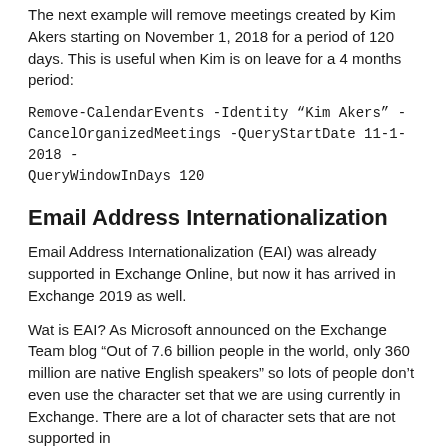The next example will remove meetings created by Kim Akers starting on November 1, 2018 for a period of 120 days. This is useful when Kim is on leave for a 4 months period:
Remove-CalendarEvents -Identity "Kim Akers" -CancelOrganizedMeetings -QueryStartDate 11-1-2018 -QueryWindowInDays 120
Email Address Internationalization
Email Address Internationalization (EAI) was already supported in Exchange Online, but now it has arrived in Exchange 2019 as well.
Wat is EAI? As Microsoft announced on the Exchange Team blog “Out of 7.6 billion people in the world, only 360 million are native English speakers” so lots of people don’t even use the character set that we are using currently in Exchange. There are a lot of character sets that are not supported in